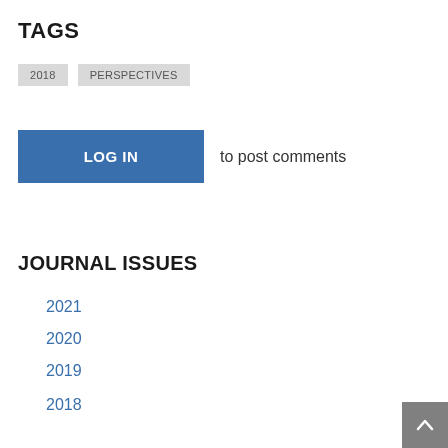TAGS
2018
PERSPECTIVES
LOG IN to post comments
JOURNAL ISSUES
2021
2020
2019
2018